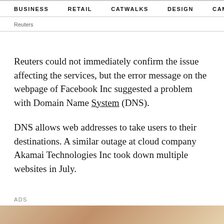BUSINESS   RETAIL   CATWALKS   DESIGN   CAMI >
Reuters
Reuters could not immediately confirm the issue affecting the services, but the error message on the webpage of Facebook Inc suggested a problem with Domain Name System (DNS).
DNS allows web addresses to take users to their destinations. A similar outage at cloud company Akamai Technologies Inc took down multiple websites in July.
ADS
[Figure (photo): Advertisement image at bottom of page, showing partial view of a person with warm toned background]